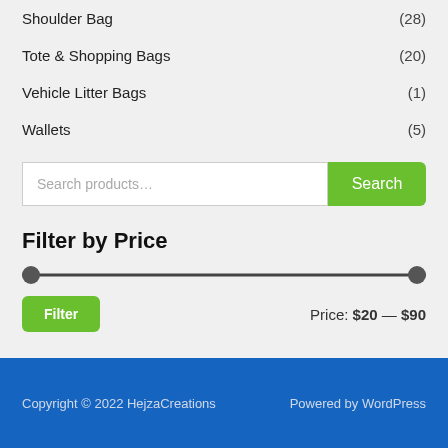Shoulder Bag (28)
Tote & Shopping Bags (20)
Vehicle Litter Bags (1)
Wallets (5)
[Figure (screenshot): Search products input field with a green Search button]
Filter by Price
[Figure (other): Price range slider with handles at left and right ends]
Price: $20 — $90
Copyright © 2022 HejzaCreations   Powered by WordPress